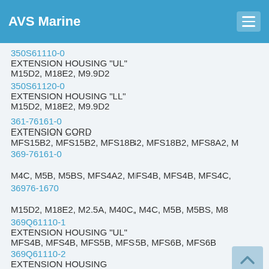AVS Marine
350S61110-0
EXTENSION HOUSING "UL"
M15D2, M18E2, M9.9D2
350S61120-0
EXTENSION HOUSING "LL"
M15D2, M18E2, M9.9D2
361-76161-0
EXTENSION CORD
MFS15B2, MFS15B2, MFS18B2, MFS18B2, MFS8A2, M
369-76161-0
M4C, M5B, M5BS, MFS4A2, MFS4B, MFS4B, MFS4C,
36976-1670
M15D2, M18E2, M2.5A, M40C, M4C, M5B, M5BS, M8
369Q61110-1
EXTENSION HOUSING "UL"
MFS4B, MFS4B, MFS5B, MFS5B, MFS6B, MFS6B
369Q61110-2
EXTENSION HOUSING